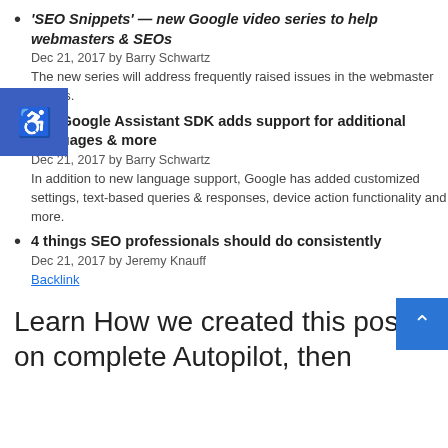'SEO Snippets' — new Google video series to help webmasters & SEOs
Dec 21, 2017 by Barry Schwartz
The new series will address frequently raised issues in the webmaster forums.
The Google Assistant SDK adds support for additional languages & more
Dec 21, 2017 by Barry Schwartz
In addition to new language support, Google has added customized settings, text-based queries & responses, device action functionality and more.
4 things SEO professionals should do consistently
Dec 21, 2017 by Jeremy Knauff
Backlink
Learn How we created this post on complete Autopilot, then